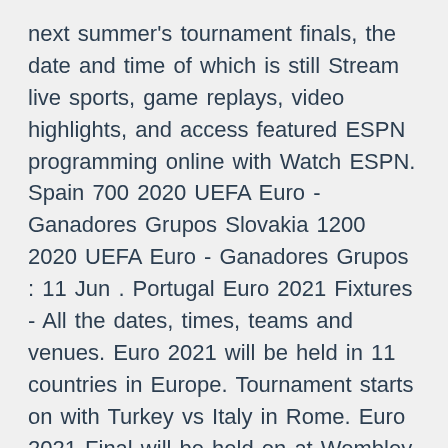next summer's tournament finals, the date and time of which is still Stream live sports, game replays, video highlights, and access featured ESPN programming online with Watch ESPN. Spain 700 2020 UEFA Euro - Ganadores Grupos Slovakia 1200 2020 UEFA Euro - Ganadores Grupos : 11 Jun . Portugal Euro 2021 Fixtures - All the dates, times, teams and venues. Euro 2021 will be held in 11 countries in Europe. Tournament starts on with Turkey vs Italy in Rome. Euro 2021 Final will be held on at Wembley Stadium in London. Match Slovakia vs Spain - Euro 2020 (06/23/2021): Live score, stream, statistics match & H2H results on Tribuna.com.
Poland / Slovakia vs. Spain (COPE) free online. UEFA Euro 2020/2021 live. Jun 14, 2021 · Slovakia will face Poland in their Euro 2020 opener on Monday evening